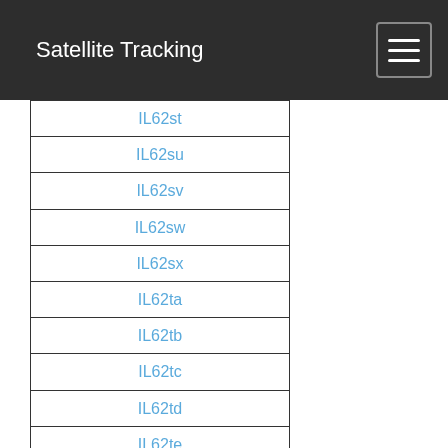Satellite Tracking
| IL62st |
| IL62su |
| IL62sv |
| IL62sw |
| IL62sx |
| IL62ta |
| IL62tb |
| IL62tc |
| IL62td |
| IL62te |
| IL62tf |
| IL62tg |
| IL62th |
| IL62ti |
| IL62tj |
| IL62tk |
| IL62tl |
| IL62tm |